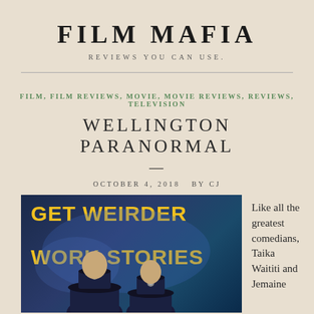FILM MAFIA
REVIEWS YOU CAN USE.
FILM, FILM REVIEWS, MOVIE, MOVIE REVIEWS, REVIEWS, TELEVISION
WELLINGTON PARANORMAL
OCTOBER 4, 2018  BY CJ
[Figure (photo): Movie promotional poster for Wellington Paranormal showing text 'GET WEIRDER WORK STORIES' in yellow on dark blue background with two police officers in uniform hats visible at the bottom]
Like all the greatest comedians, Taika Waititi and Jemaine